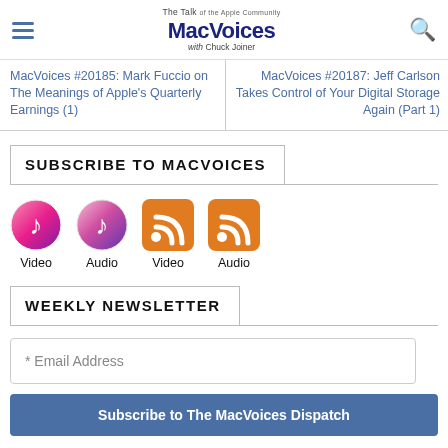The Talk of the Apple Community MacVoices with Chuck Joiner
MacVoices #20185: Mark Fuccio on The Meanings of Apple's Quarterly Earnings (1)
MacVoices #20187: Jeff Carlson Takes Control of Your Digital Storage Again (Part 1)
SUBSCRIBE TO MACVOICES
[Figure (other): Four subscription icons: two iTunes music note circles (Video, Audio) and two orange RSS squares (Video, Audio)]
WEEKLY NEWSLETTER
* Email Address
Subscribe to The MacVoices Dispatch